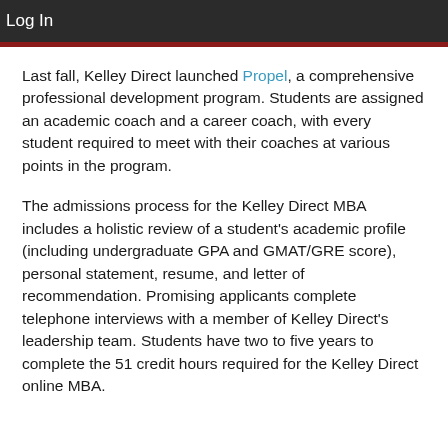Log In
Last fall, Kelley Direct launched Propel, a comprehensive professional development program. Students are assigned an academic coach and a career coach, with every student required to meet with their coaches at various points in the program.
The admissions process for the Kelley Direct MBA includes a holistic review of a student's academic profile (including undergraduate GPA and GMAT/GRE score), personal statement, resume, and letter of recommendation. Promising applicants complete telephone interviews with a member of Kelley Direct's leadership team. Students have two to five years to complete the 51 credit hours required for the Kelley Direct online MBA.